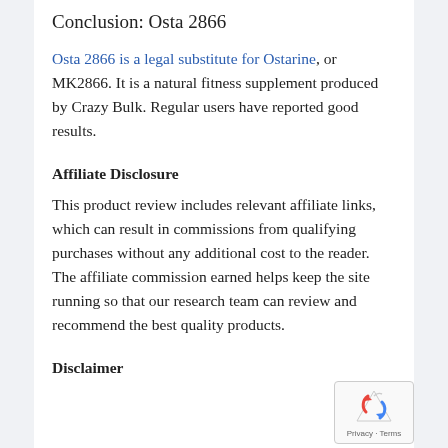Conclusion: Osta 2866
Osta 2866 is a legal substitute for Ostarine, or MK2866. It is a natural fitness supplement produced by Crazy Bulk. Regular users have reported good results.
Affiliate Disclosure
This product review includes relevant affiliate links, which can result in commissions from qualifying purchases without any additional cost to the reader. The affiliate commission earned helps keep the site running so that our research team can review and recommend the best quality products.
Disclaimer